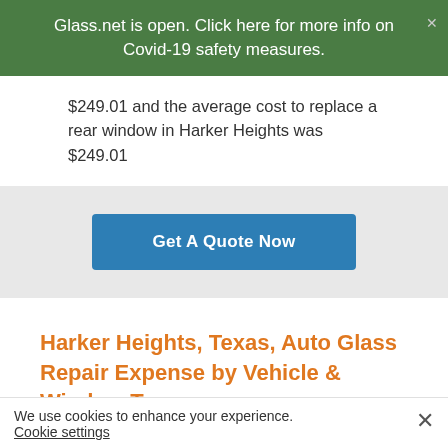Glass.net is open. Click here for more info on Covid-19 safety measures.
$249.01 and the average cost to replace a rear window in Harker Heights was $249.01
Get A Quote Now
Harker Heights, Texas, Auto Glass Repair Expense by Vehicle & Window Type
Harker Heights, Texas, automotive glass repair cost varies by vehicle type and the type of window being
We use cookies to enhance your experience. Cookie settings